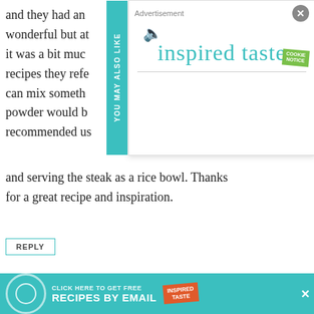and they had an wonderful but at it was a bit much recipes they refe can mix someth powder would b recommended us
[Figure (screenshot): Advertisement overlay with 'YOU MAY ALSO LIKE' sidebar label, mute icon, 'inspired taste' cursive logo in teal, and a green 'COOKIE NOTICE' badge. A horizontal dividing line appears at the bottom of the ad.]
and serving the steak as a rice bowl. Thanks for a great recipe and inspiration.
REPLY
Linda   January 22, 2022, 9:35 pm
Hello Inspired Taste,
I've
[Figure (infographic): Teal banner advertisement: circular target icon on left, 'CLICK HERE TO GET FREE RECIPES BY EMAIL' text in white, 'INSPIRED TASTE' badge in orange-red on right. An 'x' close button appears to the right.]